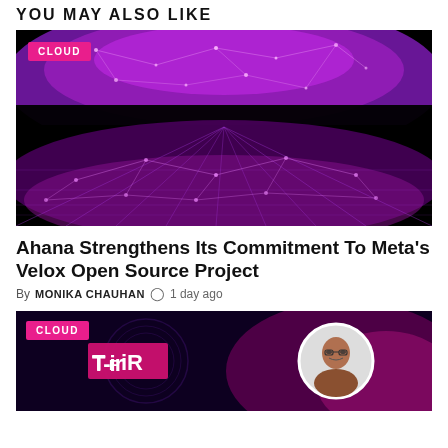YOU MAY ALSO LIKE
[Figure (photo): Purple/magenta glowing network grid on black background with CLOUD badge]
Ahana Strengthens Its Commitment To Meta's Velox Open Source Project
By MONIKA CHAUHAN  1 day ago
[Figure (photo): Dark purple background with TFIR logo and a man with glasses in a white circle, CLOUD badge]